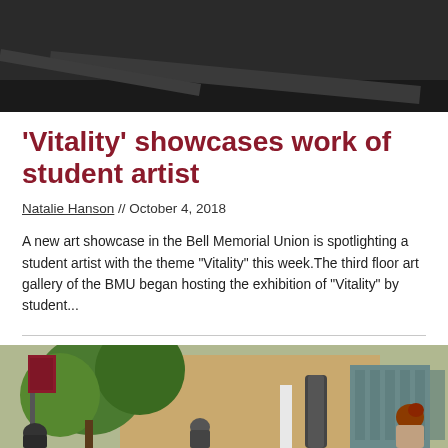[Figure (photo): Top portion of a photo showing a dark interior surface, partially cropped at the top of the page.]
'Vitality' showcases work of student artist
Natalie Hanson // October 4, 2018
A new art showcase in the Bell Memorial Union is spotlighting a student artist with the theme "Vitality" this week.The third floor art gallery of the BMU began hosting the exhibition of "Vitality" by student...
[Figure (photo): Outdoor campus photo showing students walking near trees and a building with large glass windows, likely the Bell Memorial Union (BMU). A person with red hair is visible on the right side.]